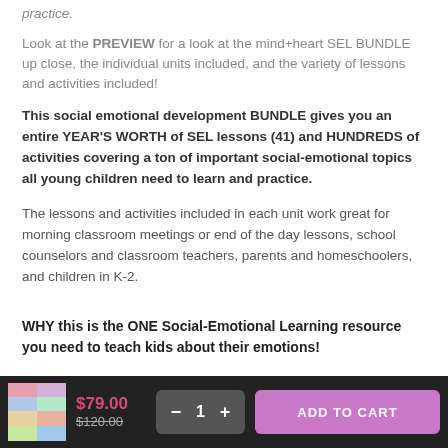practice.
Look at the PREVIEW for a look at the mind+heart SEL BUNDLE up close, the individual units included, and the variety of lessons and activities included!
This social emotional development BUNDLE gives you an entire YEAR'S WORTH of SEL lessons (41) and HUNDREDS of activities covering a ton of important social-emotional topics all young children need to learn and practice.
The lessons and activities included in each unit work great for morning classroom meetings or end of the day lessons, school counselors and classroom teachers, parents and homeschoolers, and children in K-2.
WHY this is the ONE Social-Emotional Learning resource you need to teach kids about their emotions!